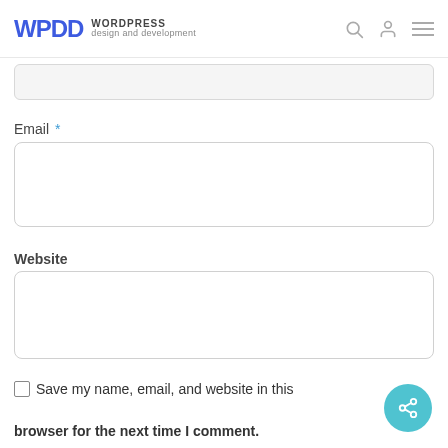WPDD WORDPRESS design and development
Email *
Website
Save my name, email, and website in this browser for the next time I comment.